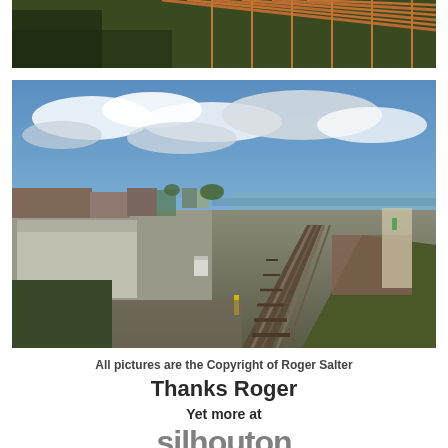[Figure (photo): Partial view of rusty metal fence/railing structure with vegetation in background, cropped at top of page]
[Figure (photo): Aerial/elevated view of railway tracks running alongside a cleared industrial area with concrete walls, buildings, a coastal beach and sea visible in the background under a partly cloudy blue sky]
All pictures are the Copyright of Roger Salter
Thanks Roger
Yet more at
silhouton